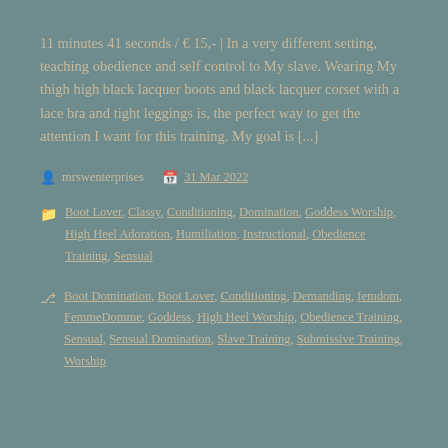11 minutes 41 seconds / € 15,- | In a very different setting, teaching obedience and self control to My slave. Wearing My thigh high black lacquer boots and black lacquer corset with a lace bra and tight leggings is, the perfect way to get the attention I want for this training. My goal is [...]
mrswenterprises   31 Mar 2022
Boot Lover, Classy, Conditioning, Domination, Goddess Worship, High Heel Adoration, Humiliation, Instructional, Obedience Training, Sensual
Boot Domination, Boot Lover, Conditioning, Demanding, femdom, FemmeDomme, Goddess, High Heel Worship, Obedience Training, Sensual, Sensual Domination, Slave Training, Submissive Training, Worship